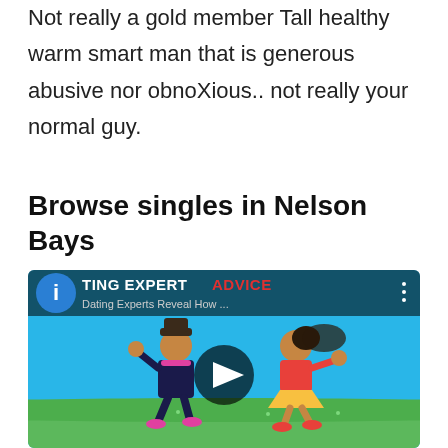Not really a gold member Tall healthy warm smart man that is generous abusive nor obnoXious.. not really your normal guy.
Browse singles in Nelson Bays
[Figure (screenshot): YouTube video thumbnail showing animated cartoon characters running, with overlay text 'TING EXPERT ADVICE' and subtitle 'Dating Experts Reveal How ...' with a play button in the center]